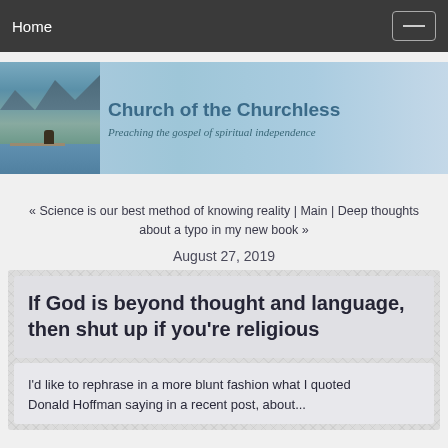Home
[Figure (illustration): Church of the Churchless website banner with photo of a dog on a lake dock and text 'Church of the Churchless - Preaching the gospel of spiritual independence']
« Science is our best method of knowing reality | Main | Deep thoughts about a typo in my new book »
August 27, 2019
If God is beyond thought and language, then shut up if you're religious
I'd like to rephrase in a more blunt fashion what I quoted Donald Hoffman saying in a recent post, about...